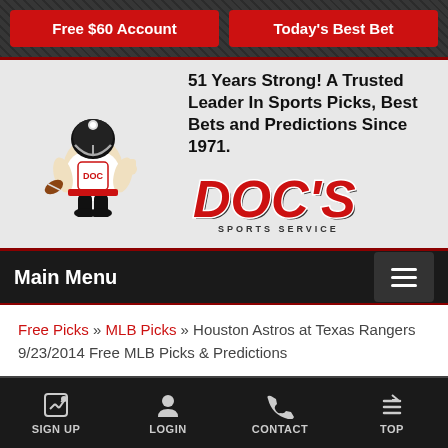Free $60 Account | Today's Best Bet
[Figure (logo): Doc's Sports Service logo with mascot football player character and red DOC'S text with SPORTS SERVICE subtitle]
51 Years Strong! A Trusted Leader In Sports Picks, Best Bets and Predictions Since 1971.
Main Menu
Free Picks » MLB Picks » Houston Astros at Texas Rangers 9/23/2014 Free MLB Picks & Predictions
Houston Astros at Texas Rangers 9/23/2014 Free MLB Picks & Predictions
SIGN UP   LOGIN   CONTACT   TOP